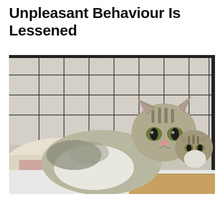Unpleasant Behaviour Is Lessened
[Figure (photo): A tabby-and-white adult cat and a smaller tabby kitten sitting together inside a wire cage on white bedding with a cardboard box]
[Figure (infographic): Advertisement banner with dark background, parrot image on left, white bold text reading 'Just $2 can protect 1 acre of irreplaceable forest homes in the Amazon. How many acres are you willing to protect?' and a green button labeled 'PROTECT FORESTS NOW']